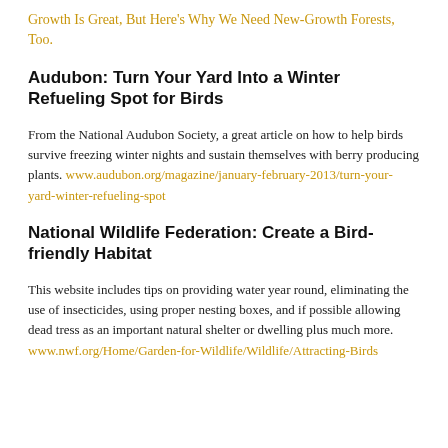Growth Is Great, But Here's Why We Need New-Growth Forests, Too.
Audubon: Turn Your Yard Into a Winter Refueling Spot for Birds
From the National Audubon Society, a great article on how to help birds survive freezing winter nights and sustain themselves with berry producing plants. www.audubon.org/magazine/january-february-2013/turn-your-yard-winter-refueling-spot
National Wildlife Federation: Create a Bird-friendly Habitat
This website includes tips on providing water year round, eliminating the use of insecticides, using proper nesting boxes, and if possible allowing dead tress as an important natural shelter or dwelling plus much more. www.nwf.org/Home/Garden-for-Wildlife/Wildlife/Attracting-Birds